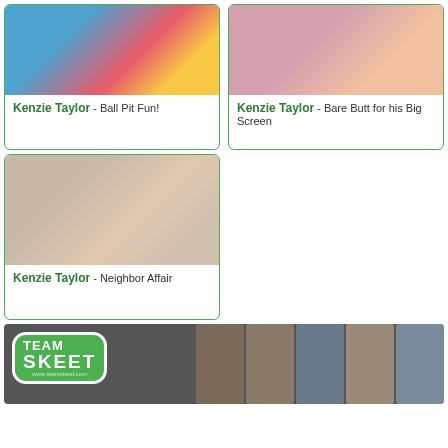[Figure (photo): Thumbnail image for Kenzie Taylor - Ball Pit Fun!]
Kenzie Taylor - Ball Pit Fun!
[Figure (photo): Thumbnail image for Kenzie Taylor - Bare Butt for his Big Screen]
Kenzie Taylor - Bare Butt for his Big Screen
[Figure (photo): Thumbnail image for Kenzie Taylor - Neighbor Affair]
Kenzie Taylor - Neighbor Affair
[Figure (logo): Team Skeet banner advertisement with logo and photo collage]